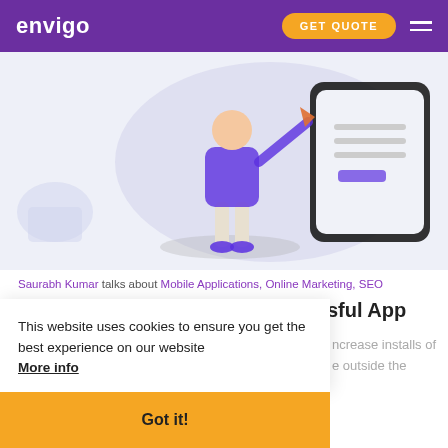envigo | GET QUOTE
[Figure (illustration): Illustration of a person standing next to a large mobile phone/tablet device on a light purple/blue background]
Saurabh Kumar talks about Mobile Applications, Online Marketing, SEO
The Basics of Running a Successful App Download Campaign
Jun 13, 2020
increase installs of e outside the
This website uses cookies to ensure you get the best experience on our website More info
Got it!